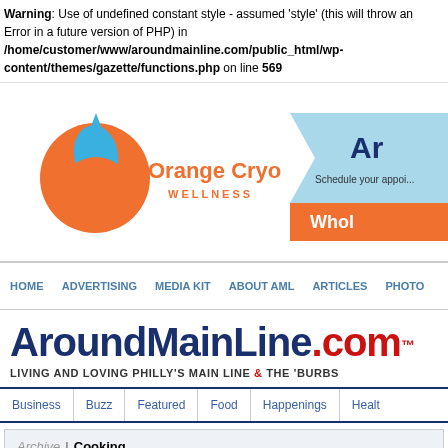Warning: Use of undefined constant style - assumed 'style' (this will throw an Error in a future version of PHP) in /home/customer/www/aroundmainline.com/public_html/wp-content/themes/gazette/functions.php on line 569
[Figure (logo): Orange Cryo Wellness logo with blue water drop and orange circle, alongside a light blue arrow banner with text 'Ar...' and 'Schedule your appoi...' and orange strip 'Whol...']
HOME | ADVERTISING | MEDIA KIT | ABOUT AML | ARTICLES | PHOTO...
AroundMainLine.com™
LIVING AND LOVING PHILLY'S MAIN LINE & THE 'BURBS
Business | Buzz | Featured | Food | Happenings | Healt...
Archive | Cooking